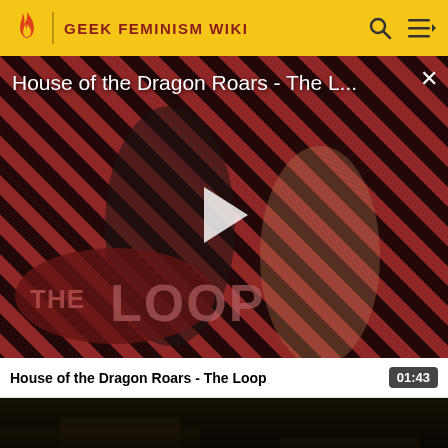GEEK FEMINISM WIKI
[Figure (screenshot): Video player showing House of the Dragon Roars - The Loop, with two characters from the show on a diagonal striped red background, The Loop logo visible, play button overlay]
House of the Dragon Roars - The L...
01:43
[Figure (screenshot): Thumbnail for Altdorf - Warhammer Wiki video, dark cinematic image]
Altdorf
Warhammer Wiki